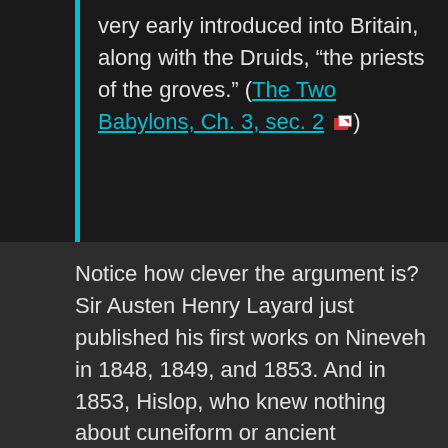very early introduced into Britain, along with the Druids, "the priests of the groves." (The Two Babylons, Ch. 3, sec. 2 [icon])
Notice how clever the argument is? Sir Austen Henry Layard just published his first works on Nineveh in 1848, 1849, and 1853. And in 1853, Hislop, who knew nothing about cuneiform or ancient Babylonian languages concludes that since the Babylonian name “Ishtar” sounds like the English word “Easter” they must be the same!
Just so that the argument can not be disproved, Hislop claims that the Druids brought Ishtar to England. This is handy, because the Druids didn’t write anything down. And those records about Druids by others don’t record any such migrations or Ishtar